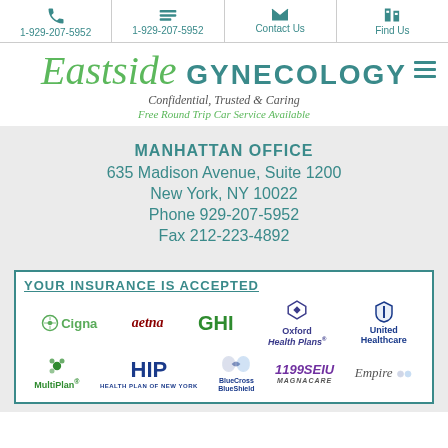1-929-207-5952 | 1-929-207-5952 | Contact Us | Find Us
[Figure (logo): Eastside Gynecology logo with taglines: Confidential, Trusted & Caring / Free Round Trip Car Service Available]
MANHATTAN OFFICE
635 Madison Avenue, Suite 1200
New York, NY 10022
Phone 929-207-5952
Fax 212-223-4892
[Figure (infographic): YOUR INSURANCE IS ACCEPTED box showing logos: Cigna, aetna, GHI, Oxford Health Plans, United Healthcare, MultiPlan, HIP, BlueCross BlueShield, 1199SEIU MAGNACARE, Empire]